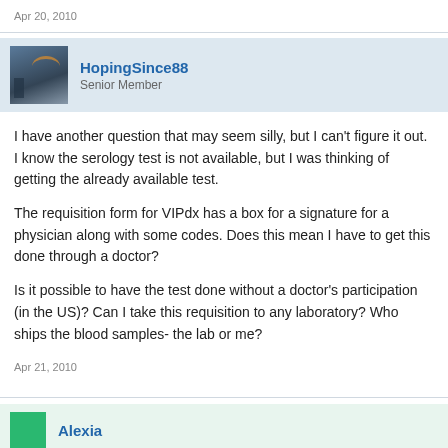Apr 20, 2010
HopingSince88
Senior Member
I have another question that may seem silly, but I can't figure it out. I know the serology test is not available, but I was thinking of getting the already available test.
The requisition form for VIPdx has a box for a signature for a physician along with some codes. Does this mean I have to get this done through a doctor?
Is it possible to have the test done without a doctor's participation (in the US)? Can I take this requisition to any laboratory? Who ships the blood samples- the lab or me?
Apr 21, 2010
Alexia